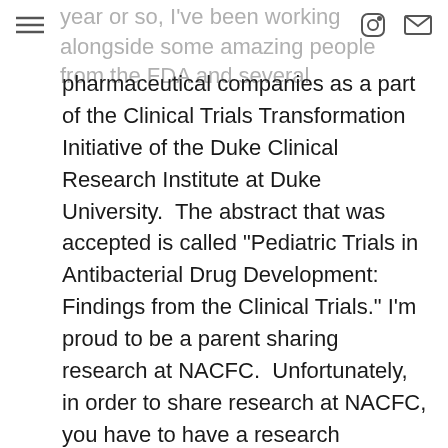year or so, I've been working alongside some amazing people from the FDA and several
pharmaceutical companies as a part of the Clinical Trials Transformation Initiative of the Duke Clinical Research Institute at Duke University.  The abstract that was accepted is called "Pediatric Trials in Antibacterial Drug Development: Findings from the Clinical Trials." I'm proud to be a parent sharing research at NACFC.  Unfortunately, in order to share research at NACFC, you have to have a research organization, something most non-clinicians like parents/patients don't have.  With continued support from patient-driven research sponsored by the CF Foundation through the Insight CF Registry Research Project, I am hopeful that, over time, there will be more opportunities and platforms for patients and families to share